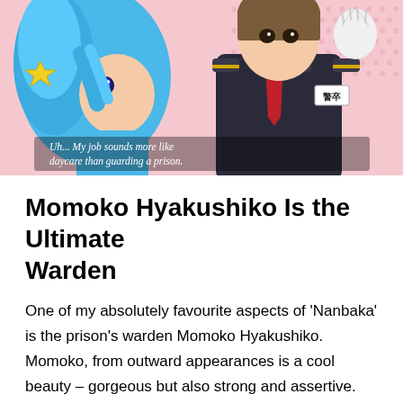[Figure (illustration): Anime screenshot from 'Nanbaka' showing two characters: on the left a character with bright blue hair and a star accessory, and on the right a character in a dark military-style uniform with a red tie and shoulder epaulettes. Subtitle text reads: 'Uh... My job sounds more like daycare than guarding a prison.']
Momoko Hyakushiko Is the Ultimate Warden
One of my absolutely favourite aspects of 'Nanbaka' is the prison's warden Momoko Hyakushiko. Momoko, from outward appearances is a cool beauty – gorgeous but also strong and assertive. She maintains the authority of the prison and commands the respect of everyone around her. But on the inside she is the ultimate fangirl of one of the prison guards. The little cut away scenes of her feeling all